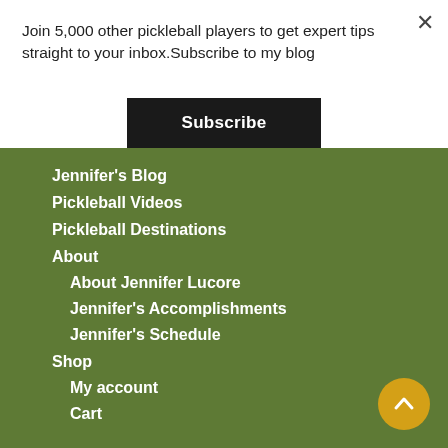Join 5,000 other pickleball players to get expert tips straight to your inbox.Subscribe to my blog
Subscribe
Jennifer's Blog
Pickleball Videos
Pickleball Destinations
About
About Jennifer Lucore
Jennifer's Accomplishments
Jennifer's Schedule
Shop
My account
Cart